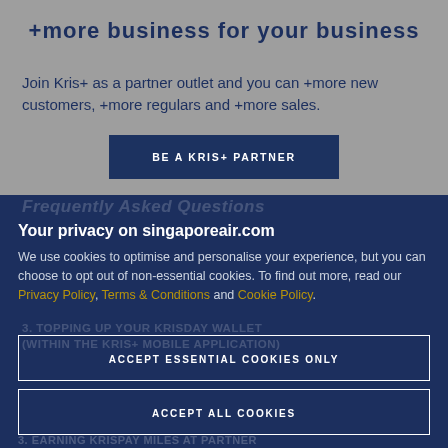+more business for your business
Join Kris+ as a partner outlet and you can +more new customers, +more regulars and +more sales.
BE A KRIS+ PARTNER
Frequently Asked Questions
Your privacy on singaporeair.com
We use cookies to optimise and personalise your experience, but you can choose to opt out of non-essential cookies. To find out more, read our Privacy Policy, Terms & Conditions and Cookie Policy.
ACCEPT ESSENTIAL COOKIES ONLY
3. TOPPING UP YOUR KRISDAY WALLET (WITHIN THE KRIS+ MOBILE APPLICATION)
ACCEPT ALL COOKIES
3. EARNING KRISPAY MILES AT PARTNER